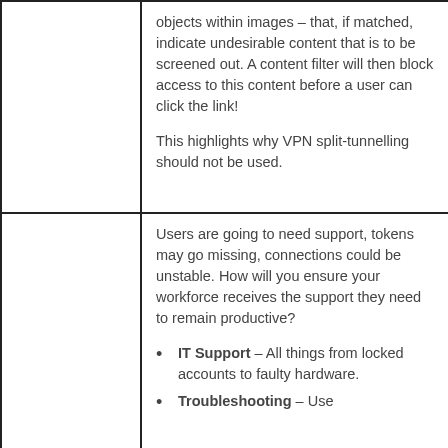|  | objects within images – that, if matched, indicate undesirable content that is to be screened out. A content filter will then block access to this content before a user can click the link!

This highlights why VPN split-tunnelling should not be used. |
|  | Users are going to need support, tokens may go missing, connections could be unstable. How will you ensure your workforce receives the support they need to remain productive?

• IT Support – All things from locked accounts to faulty hardware.
• Troubleshooting – Use |